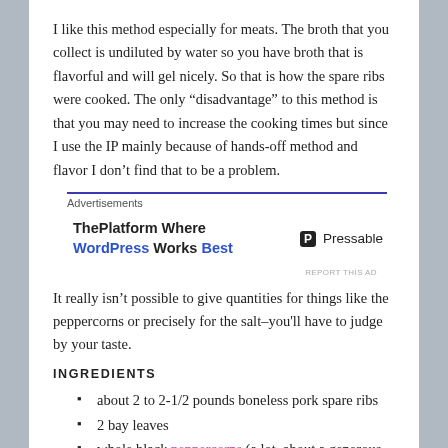I like this method especially for meats. The broth that you collect is undiluted by water so you have broth that is flavorful and will gel nicely. So that is how the spare ribs were cooked. The only “disadvantage” to this method is that you may need to increase the cooking times but since I use the IP mainly because of hands-off method and flavor I don’t find that to be a problem.
[Figure (other): Advertisement banner for Pressable hosting: 'ThePlatform Where WordPress Works Best' with Pressable logo]
It really isn’t possible to give quantities for things like the peppercorns or precisely for the salt–you'll have to judge by your taste.
INGREDIENTS
about 2 to 2-1/2 pounds boneless pork spare ribs
2 bay leaves
whole black peppercorns (a lot–about a generous